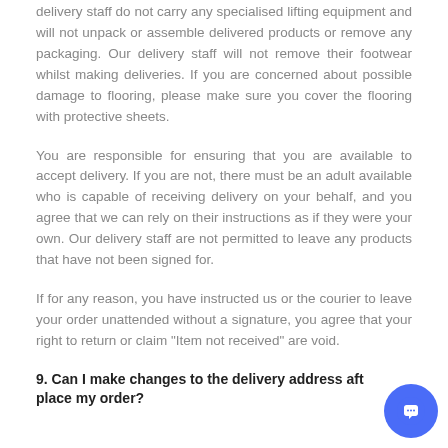delivery staff do not carry any specialised lifting equipment and will not unpack or assemble delivered products or remove any packaging. Our delivery staff will not remove their footwear whilst making deliveries. If you are concerned about possible damage to flooring, please make sure you cover the flooring with protective sheets.
You are responsible for ensuring that you are available to accept delivery. If you are not, there must be an adult available who is capable of receiving delivery on your behalf, and you agree that we can rely on their instructions as if they were your own. Our delivery staff are not permitted to leave any products that have not been signed for.
If for any reason, you have instructed us or the courier to leave your order unattended without a signature, you agree that your right to return or claim "Item not received" are void.
9. Can I make changes to the delivery address after I place my order?
...